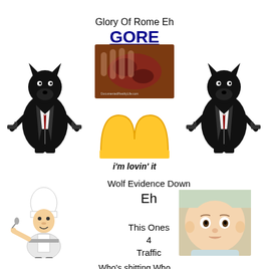Glory Of Rome Eh
GORE
[Figure (illustration): Center composite image: a gore/injury photo overlaid with McDonald's 'i'm lovin' it' logo. Flanked on left and right by black and white illustrations of anthropomorphic wolf/dog characters in suits holding guns.]
Wolf Evidence Down
Eh
This Ones
4
Traffic
[Figure (photo): Photo of a baby looking surprised or concerned]
Who's shitting Who
Who's IT
WIT
What's IT
as U will
All
“N”
Compass
Ing